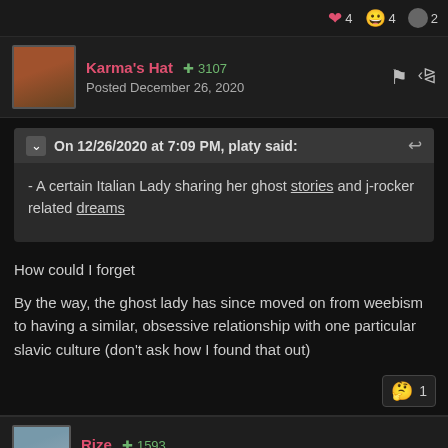Reaction icons: heart 4, emoji 4, avatar 2
Karma's Hat +3107
Posted December 26, 2020
On 12/26/2020 at 7:09 PM, platy said:
- A certain Italian Lady sharing her ghost stories and j-rocker related dreams
How could I forget
By the way, the ghost lady has since moved on from weebism to having a similar, obsessive relationship with one particular slavic culture (don't ask how I found that out)
thinking emoji 1
Rize +1593
Posted December 26, 2020